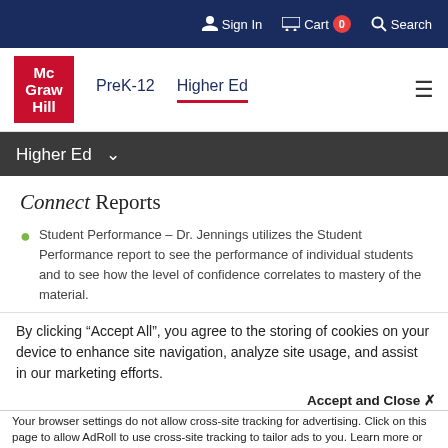Sign In  Cart 0  Search
[Figure (logo): McGraw Hill logo in red box with navigation links PreK-12 and Higher Ed]
Higher Ed
Connect Reports
Student Performance – Dr. Jennings utilizes the Student Performance report to see the performance of individual students and to see how the level of confidence correlates to mastery of the material.
By clicking “Accept All”, you agree to the storing of cookies on your device to enhance site navigation, analyze site usage, and assist in our marketing efforts.
Accept and Close ×
Your browser settings do not allow cross-site tracking for advertising. Click on this page to allow AdRoll to use cross-site tracking to tailor ads to you. Learn more or opt out of this AdRoll tracking by clicking here. This message only appears once.